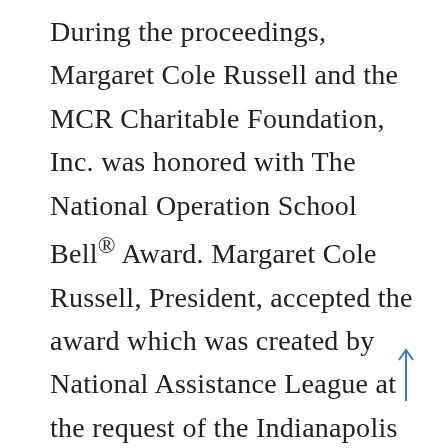During the proceedings, Margaret Cole Russell and the MCR Charitable Foundation, Inc. was honored with The National Operation School Bell® Award. Margaret Cole Russell, President, accepted the award which was created by National Assistance League at the request of the Indianapolis Chapter to recognize individuals and organizations that have given above and beyond to support the Operation School Bell® Program. The MCR Foundation was celebrated for covering the cost of duffel bags for the last 12 years. The more than 34,000 children served by the program since then carry their new clothing and supplies home in these sturdy, colorful bags. This is only the second time the